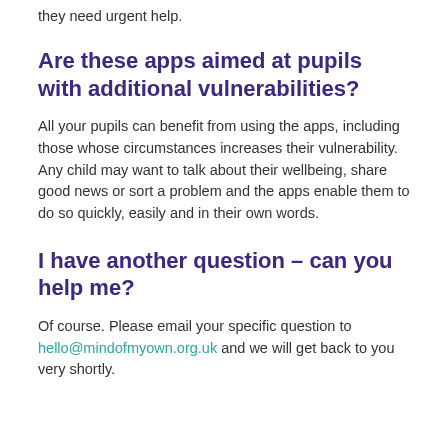they need urgent help.
Are these apps aimed at pupils with additional vulnerabilities?
All your pupils can benefit from using the apps, including those whose circumstances increases their vulnerability. Any child may want to talk about their wellbeing, share good news or sort a problem and the apps enable them to do so quickly, easily and in their own words.
I have another question – can you help me?
Of course. Please email your specific question to hello@mindofmyown.org.uk and we will get back to you very shortly.